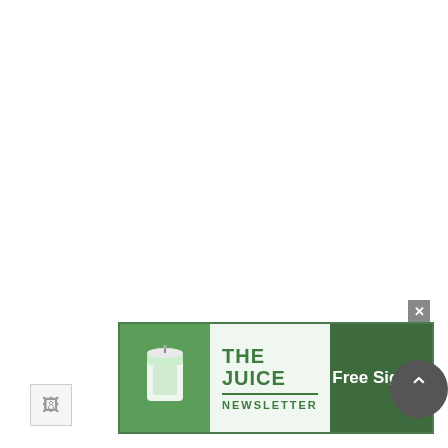The gold sector is on a long-term buy signal. Long-term signals can last for months and years and are more suitable for investors holding for long term.
[Figure (other): Advertisement banner for 'The Juice Newsletter' with a green smoothie cup icon and a 'Free Sign Up' call-to-action button. Includes a close (x) button in the upper right corner.]